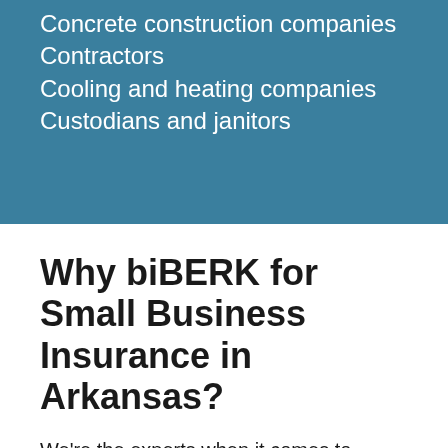Concrete construction companies
Contractors
Cooling and heating companies
Custodians and janitors
Why biBERK for Small Business Insurance in Arkansas?
We're the experts when it comes to Arkansas small business insurance